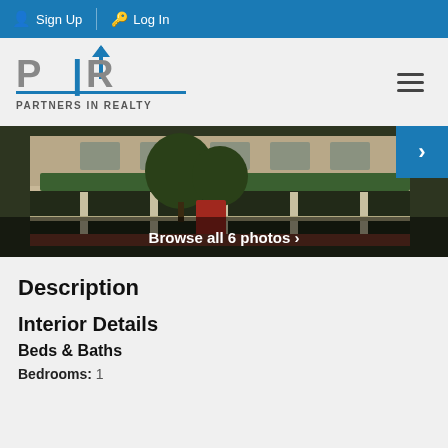Sign Up  Log In
[Figure (logo): Partners In Realty logo with PIR letters and building icon]
[Figure (photo): Exterior photo of a house/property with porch and green roof. Overlay text: Browse all 6 photos >]
Description
Interior Details
Beds & Baths
Bedrooms: 1